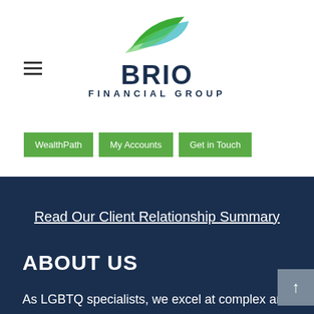[Figure (logo): Brio Financial Group logo with green swoosh/wing shape above the text BRIO FINANCIAL GROUP in dark navy]
[Figure (illustration): Hamburger menu icon (three horizontal lines)]
WealthPath
My Accounts
Get in Touch
Read Our Client Relationship Summary
ABOUT US
As LGBTQ specialists, we excel at complex and